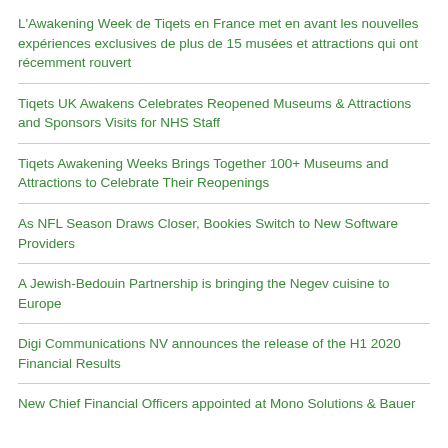L'Awakening Week de Tiqets en France met en avant les nouvelles expériences exclusives de plus de 15 musées et attractions qui ont récemment rouvert
Tiqets UK Awakens Celebrates Reopened Museums & Attractions and Sponsors Visits for NHS Staff
Tiqets Awakening Weeks Brings Together 100+ Museums and Attractions to Celebrate Their Reopenings
As NFL Season Draws Closer, Bookies Switch to New Software Providers
A Jewish-Bedouin Partnership is bringing the Negev cuisine to Europe
Digi Communications NV announces the release of the H1 2020 Financial Results
New Chief Financial Officers appointed at Mono Solutions & Bauer